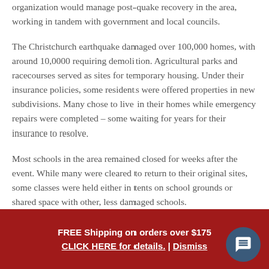organization would manage post-quake recovery in the area, working in tandem with government and local councils.
The Christchurch earthquake damaged over 100,000 homes, with around 10,0000 requiring demolition. Agricultural parks and racecourses served as sites for temporary housing. Under their insurance policies, some residents were offered properties in new subdivisions. Many chose to live in their homes while emergency repairs were completed – some waiting for years for their insurance to resolve.
Most schools in the area remained closed for weeks after the event. While many were cleared to return to their original sites, some classes were held either in tents on school grounds or shared space with other, less damaged schools. Many families chose to left the disrupted areas in...
FREE Shipping on orders over $175
CLICK HERE for details. | Dismiss